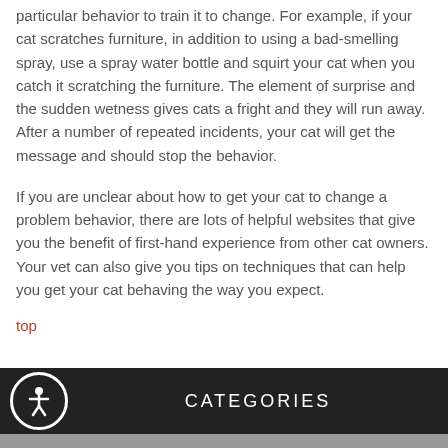particular behavior to train it to change. For example, if your cat scratches furniture, in addition to using a bad-smelling spray, use a spray water bottle and squirt your cat when you catch it scratching the furniture. The element of surprise and the sudden wetness gives cats a fright and they will run away. After a number of repeated incidents, your cat will get the message and should stop the behavior.
If you are unclear about how to get your cat to change a problem behavior, there are lots of helpful websites that give you the benefit of first-hand experience from other cat owners. Your vet can also give you tips on techniques that can help you get your cat behaving the way you expect.
top
CATEGORIES